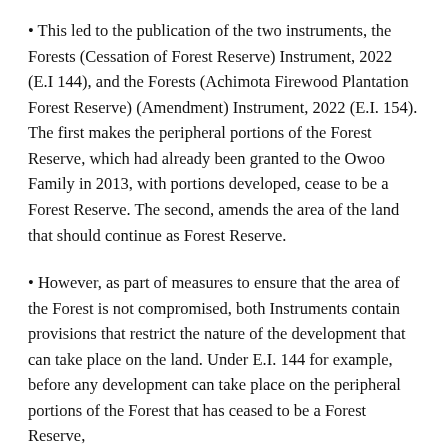This led to the publication of the two instruments, the Forests (Cessation of Forest Reserve) Instrument, 2022 (E.I 144), and the Forests (Achimota Firewood Plantation Forest Reserve) (Amendment) Instrument, 2022 (E.I. 154). The first makes the peripheral portions of the Forest Reserve, which had already been granted to the Owoo Family in 2013, with portions developed, cease to be a Forest Reserve. The second, amends the area of the land that should continue as Forest Reserve.
However, as part of measures to ensure that the area of the Forest is not compromised, both Instruments contain provisions that restrict the nature of the development that can take place on the land. Under E.I. 144 for example, before any development can take place on the peripheral portions of the Forest that has ceased to be a Forest Reserve,
Land Use and Spatial Authority shall prepare a Master Plan for the development of the area, taking into consideration the